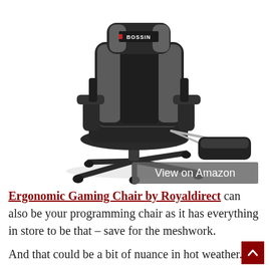[Figure (photo): Black and gray ergonomic gaming chair with footrest extended, BOSSIN brand logo on headrest, five-star wheeled base, armrests, with a 'View on Amazon' button overlay at the bottom center.]
Ergonomic Gaming Chair by Royaldirect can also be your programming chair as it has everything in store to be that – save for the meshwork.
And that could be a bit of nuance in hot weather.